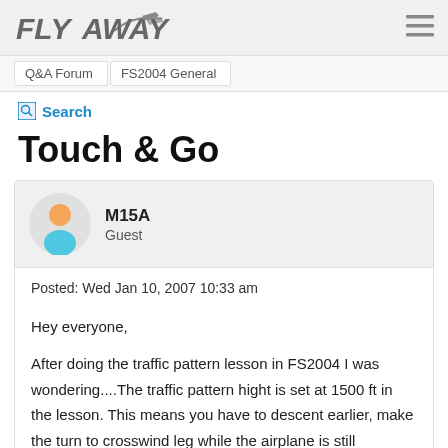FLY AWAY
Q&A Forum  FS2004 General
Search
Touch & Go
M15A
Guest
Posted: Wed Jan 10, 2007 10:33 am
Hey everyone,

After doing the traffic pattern lesson in FS2004 I was wondering....The traffic pattern hight is set at 1500 ft in the lesson. This means you have to descent earlier, make the turn to crosswind leg while the airplane is still climbing, etc. Right?